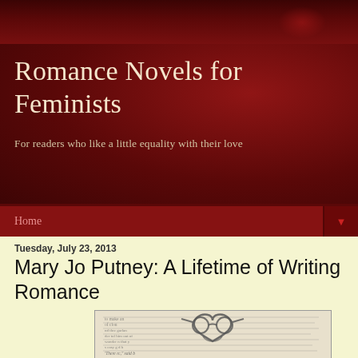[Figure (photo): Dark red decorative header background with blurred rose/floral imagery]
Romance Novels for Feminists
For readers who like a little equality with their love
Home ▼
Tuesday, July 23, 2013
Mary Jo Putney: A Lifetime of Writing Romance
[Figure (photo): Wire glasses bent into a heart shape resting on an open book with visible text]